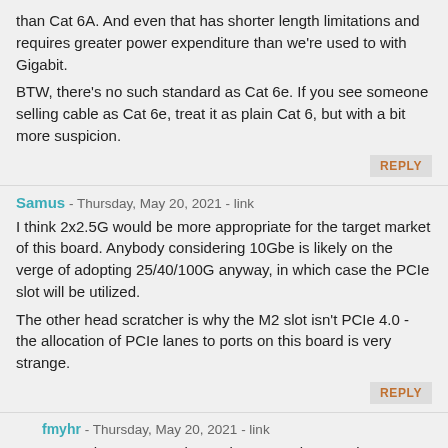than Cat 6A. And even that has shorter length limitations and requires greater power expenditure than we're used to with Gigabit.

BTW, there's no such standard as Cat 6e. If you see someone selling cable as Cat 6e, treat it as plain Cat 6, but with a bit more suspicion.
REPLY
Samus - Thursday, May 20, 2021 - link
I think 2x2.5G would be more appropriate for the target market of this board. Anybody considering 10Gbe is likely on the verge of adopting 25/40/100G anyway, in which case the PCIe slot will be utilized.

The other head scratcher is why the M2 slot isn't PCIe 4.0 - the allocation of PCIe lanes to ports on this board is very strange.
REPLY
fmyhr - Thursday, May 20, 2021 - link
Do you have personal experience running 2.5GbE? I've seen reports of problems using both Intel and Realtek chipsets. Whereas 10GbE is very mature and well-supported. Upside of being "obsolete" :-)